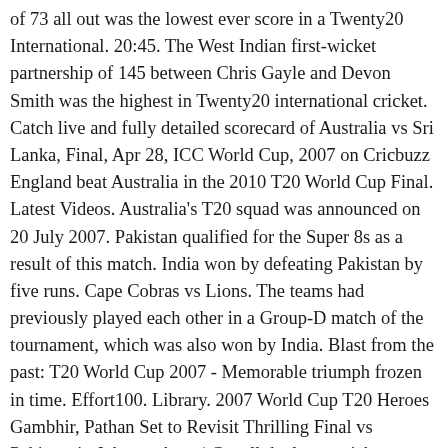of 73 all out was the lowest ever score in a Twenty20 International. 20:45. The West Indian first-wicket partnership of 145 between Chris Gayle and Devon Smith was the highest in Twenty20 international cricket. Catch live and fully detailed scorecard of Australia vs Sri Lanka, Final, Apr 28, ICC World Cup, 2007 on Cricbuzz England beat Australia in the 2010 T20 World Cup Final. Latest Videos. Australia's T20 squad was announced on 20 July 2007. Pakistan qualified for the Super 8s as a result of this match. India won by defeating Pakistan by five runs. Cape Cobras vs Lions. The teams had previously played each other in a Group-D match of the tournament, which was also won by India. Blast from the past: T20 World Cup 2007 - Memorable triumph frozen in time. Effort100. Library. 2007 World Cup T20 Heroes Gambhir, Pathan Set to Revisit Thrilling Final vs Pakistan in Johannesburg | Get all the latest cricket news, updates and coverage on India.com cricket page. Complete Scorecard of Sri Lanka vs Pakistan Final 2009, ICC World Twenty20 only on ESPNcricinfo.com. It was first decided that every two years an ICC T20 World Cup tournament is to take place, except in the event of an ICC Cricket World Cupbeing scheduled in the same year.